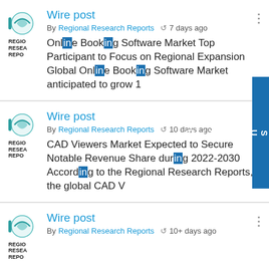Wire post – By Regional Research Reports – 7 days ago – Online Booking Software Market Top Participant to Focus on Regional Expansion Global Online Booking Software Market anticipated to grow 1
Wire post – By Regional Research Reports – 10 days ago – CAD Viewers Market Expected to Secure Notable Revenue Share during 2022-2030 According to the Regional Research Reports, the global CAD V
Wire post – By Regional Research Reports – 10+ days ago